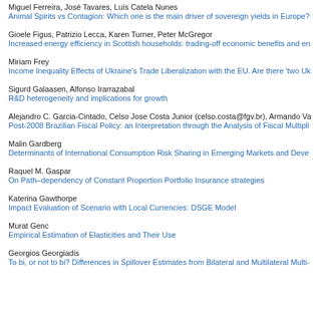Miguel Ferreira, José Tavares, Luís Catela Nunes
Animal Spirits vs Contagion: Which one is the main driver of sovereign yields in Europe?
Gioele Figus, Patrizio Lecca, Karen Turner, Peter McGregor
Increased energy efficiency in Scottish households: trading-off economic benefits and en
Miriam Frey
Income Inequality Effects of Ukraine's Trade Liberalization with the EU. Are there 'two Uk
Sigurd Galaasen, Alfonso Irarrazabal
R&D heterogeneity and implications for growth
Alejandro C. Garcia-Cintado, Celso Jose Costa Junior (celso.costa@fgv.br), Armando Va
Post-2008 Brazilian Fiscal Policy: an Interpretation through the Analysis of Fiscal Multipli
Malin Gardberg
Determinants of International Consumption Risk Sharing in Emerging Markets and Deve
Raquel M. Gaspar
On Path–dependency of Constant Proportion Portfolio Insurance strategies
Katerina Gawthorpe
Impact Evaluation of Scenario with Local Currencies: DSGE Model
Murat Genc
Empirical Estimation of Elasticities and Their Use
Georgios Georgiadis
To bi, or not to bi? Differences in Spillover Estimates from Bilateral and Multilateral Multi-